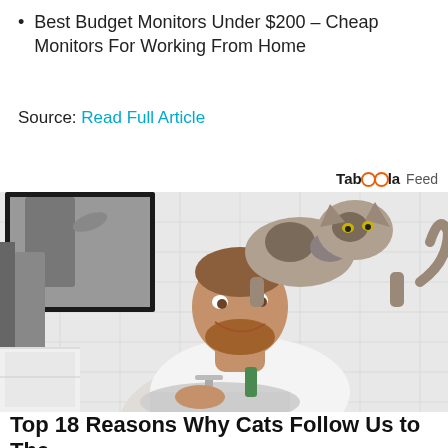Best Budget Monitors Under $200 – Cheap Monitors For Working From Home
Source: Read Full Article
[Figure (logo): Taboola Feed logo/branding in top right]
[Figure (photo): Man at bathroom sink smiling up at a cat standing on his head, white subway tile walls, mirror reflecting a gray towel]
Top 18 Reasons Why Cats Follow Us to The